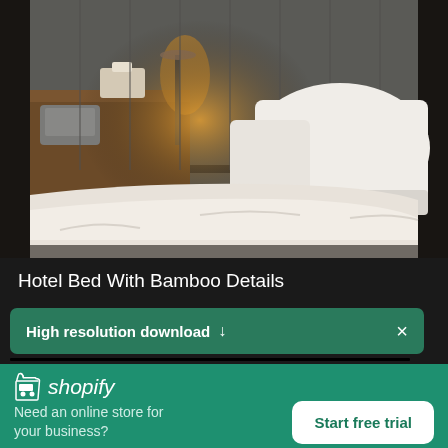[Figure (photo): Hotel bed with white pillows and duvet, warm bedside lamp, nightstand with telephone, bamboo details]
Hotel Bed With Bamboo Details
High resolution download ↓
[Figure (logo): Shopify logo with shopping bag icon and italic 'shopify' text]
Need an online store for your business?
Start free trial